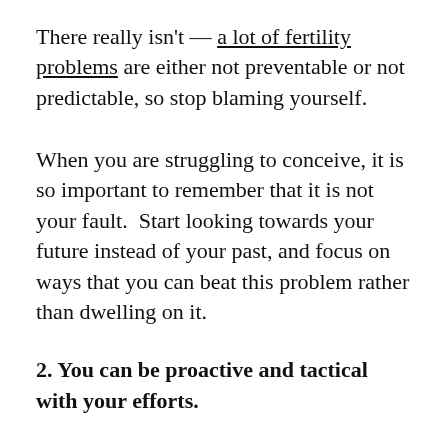There really isn't — a lot of fertility problems are either not preventable or not predictable, so stop blaming yourself.
When you are struggling to conceive, it is so important to remember that it is not your fault.  Start looking towards your future instead of your past, and focus on ways that you can beat this problem rather than dwelling on it.
2. You can be proactive and tactical with your efforts.